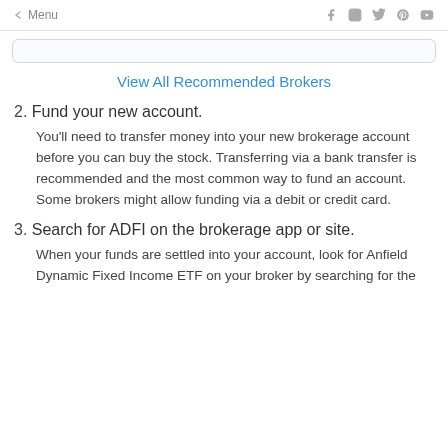← Menu  f  Instagram  Twitter  Pinterest  YouTube
View All Recommended Brokers
2. Fund your new account.
You'll need to transfer money into your new brokerage account before you can buy the stock. Transferring via a bank transfer is recommended and the most common way to fund an account. Some brokers might allow funding via a debit or credit card.
3. Search for ADFI on the brokerage app or site.
When your funds are settled into your account, look for Anfield Dynamic Fixed Income ETF on your broker by searching for the